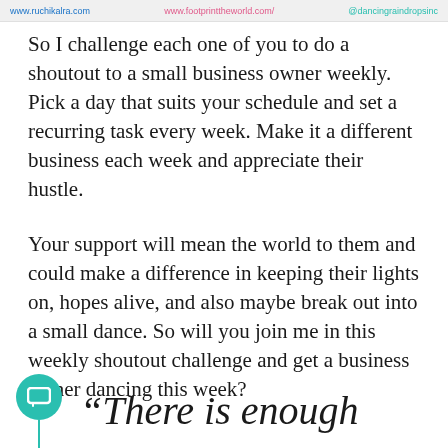www.ruchikalra.com   www.footprinttheworld.com/   @dancingraindropsinc
So I challenge each one of you to do a shoutout to a small business owner weekly. Pick a day that suits your schedule and set a recurring task every week. Make it a different business each week and appreciate their hustle.
Your support will mean the world to them and could make a difference in keeping their lights on, hopes alive, and also maybe break out into a small dance. So will you join me in this weekly shoutout challenge and get a business owner dancing this week?
“There is enough